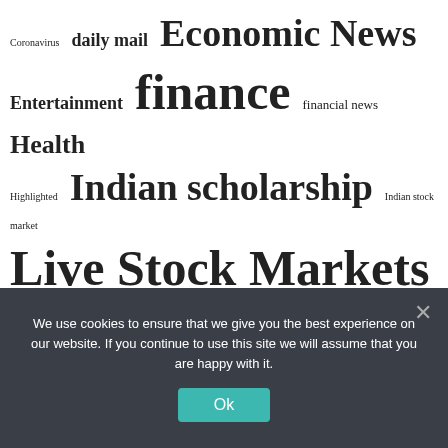[Figure (infographic): Tag cloud of website categories and topics. Words displayed at varying sizes indicating frequency/importance: Coronavirus (small), daily mail (medium), Economic News (large), Entertainment (medium), finance (very large), financial news (medium), Health (large), Highlighted (small), Indian scholarship (large), Indian stock market (small), Live Stock Markets (very large), Live Stock Price (small), Live stock quotes (very large), market news (large), mental health (large), Money control (medium), national scholarship (large), new (large), NHL (small), Nifty (small), Nifty Live (small), nse (large), owl live (large), personal finance (small), politics (small), sensex (large), Sensex Live (large), share (large), share market news (medium), Soccer (small), Sotck exchange (very large), Sports (small), stock exchange (very large), stock market (small), Technology (large), the head of finance (large), to share (small), Trade (large).]
We use cookies to ensure that we give you the best experience on our website. If you continue to use this site we will assume that you are happy with it.